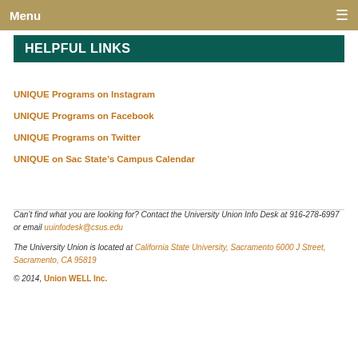Menu
HELPFUL LINKS
UNIQUE Programs on Instagram
UNIQUE Programs on Facebook
UNIQUE Programs on Twitter
UNIQUE on Sac State's Campus Calendar
Can't find what you are looking for? Contact the University Union Info Desk at 916-278-6997 or email uuinfodesk@csus.edu
The University Union is located at California State University, Sacramento 6000 J Street, Sacramento, CA 95819
© 2014, Union WELL Inc.